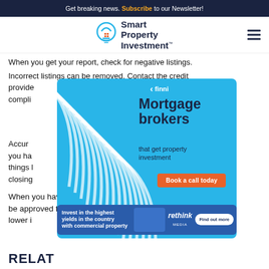Get breaking news. Subscribe to our Newsletter!
[Figure (logo): Smart Property Investment logo with lightbulb icon and hamburger menu]
When you get your report, check for negative listings.
Incorrect listings can be removed. Contact the credit provider or the credit reporting body. It's a compli...
[Figure (infographic): Finni Mortgage brokers advertisement - blue background with curved white lines, text: Mortgage brokers that get property investment, Book a call today button]
Accurately... discover you ha... doing things l... nd closing...
When you have a higher credit rating, you're more likely to be approved for that home loan, and more likely to receive lower i...
[Figure (infographic): Rethink commercial property ad: Invest in the highest yields in the country with commercial property, Find out more button]
RELAT...